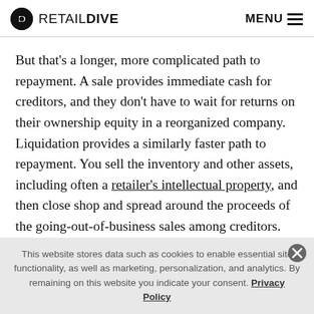RETAIL DIVE | MENU
But that's a longer, more complicated path to repayment. A sale provides immediate cash for creditors, and they don't have to wait for returns on their ownership equity in a reorganized company. Liquidation provides a similarly faster path to repayment. You sell the inventory and other assets, including often a retailer's intellectual property, and then close shop and spread around the proceeds of the going-out-of-business sales among creditors.
This website stores data such as cookies to enable essential site functionality, as well as marketing, personalization, and analytics. By remaining on this website you indicate your consent. Privacy Policy